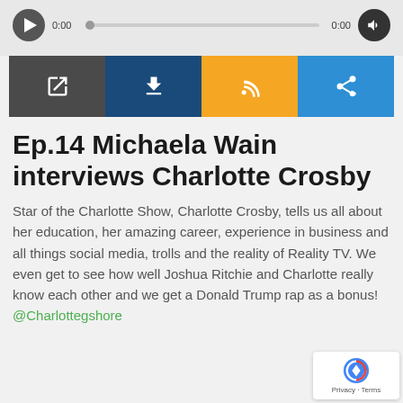[Figure (screenshot): Audio player widget with play button, progress bar showing 0:00, volume button, and four icon buttons (open in new window, download, RSS/subscribe, share) in dark gray, navy, orange, and blue colors.]
Ep.14 Michaela Wain interviews Charlotte Crosby
Star of the Charlotte Show, Charlotte Crosby, tells us all about her education, her amazing career, experience in business and all things social media, trolls and the reality of Reality TV. We even get to see how well Joshua Ritchie and Charlotte really know each other and we get a Donald Trump rap as a bonus! @Charlottegshore